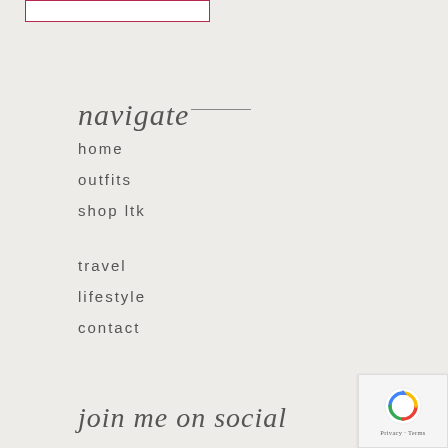[Figure (other): Search input box with red/crimson border at top left]
navigate
home
outfits
shop ltk
travel
lifestyle
contact
join me on social
[Figure (other): Google reCAPTCHA widget with Privacy and Terms text]